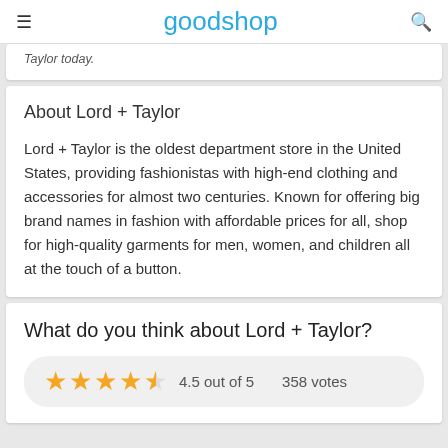goodshop
Taylor today.
About Lord + Taylor
Lord + Taylor is the oldest department store in the United States, providing fashionistas with high-end clothing and accessories for almost two centuries. Known for offering big brand names in fashion with affordable prices for all, shop for high-quality garments for men, women, and children all at the touch of a button.
What do you think about Lord + Taylor?
4.5 out of 5   358 votes